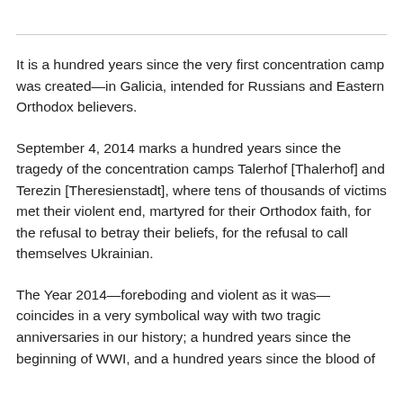It is a hundred years since the very first concentration camp was created—in Galicia, intended for Russians and Eastern Orthodox believers.
September 4, 2014 marks a hundred years since the tragedy of the concentration camps Talerhof [Thalerhof] and Terezin [Theresienstadt], where tens of thousands of victims met their violent end, martyred for their Orthodox faith, for the refusal to betray their beliefs, for the refusal to call themselves Ukrainian.
The Year 2014—foreboding and violent as it was—coincides in a very symbolical way with two tragic anniversaries in our history; a hundred years since the beginning of WWI, and a hundred years since the blood of